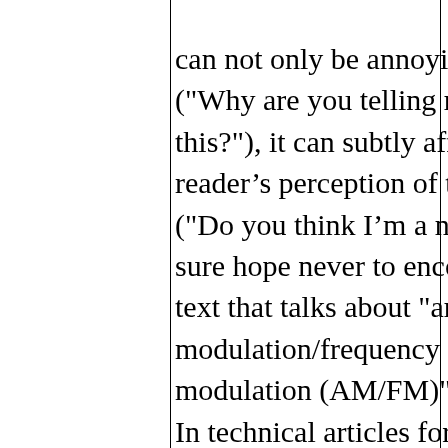can not only be annoying ("Why are you telling me this?"), it can subtly affect the reader's perception of the piece ("Do you think I'm a noob?"). I sure hope never to encounter a text that talks about "amplitude modulation/frequency modulation (AM/FM)" radios. In technical articles for computer programmers, I would strike well-meaning attempts to spell out HTML or API, because if the reader doesn't